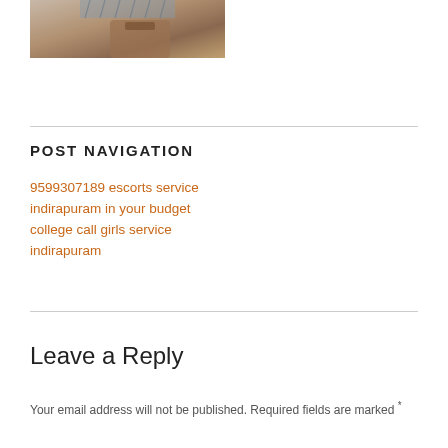[Figure (photo): Partial photo of a person wearing denim shorts and a brown bag, clothing/fashion context]
POST NAVIGATION
9599307189 escorts service indirapuram in your budget college call girls service indirapuram
Leave a Reply
Your email address will not be published. Required fields are marked *